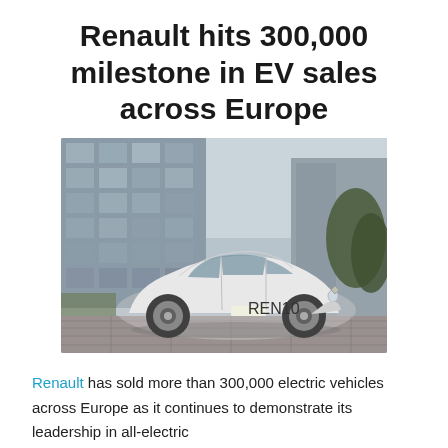Renault hits 300,000 milestone in EV sales across Europe
[Figure (photo): White Renault ZOE electric car parked in front of a modern glass building with trees in background]
Renault has sold more than 300,000 electric vehicles across Europe as it continues to demonstrate its leadership in all-electric